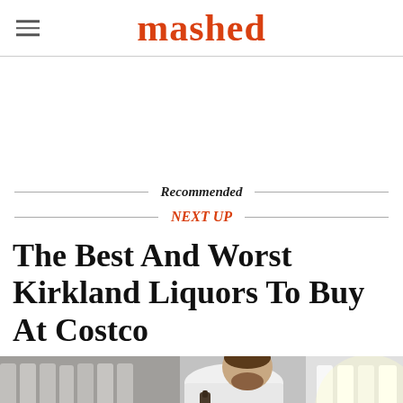mashed
Recommended
NEXT UP
The Best And Worst Kirkland Liquors To Buy At Costco
[Figure (photo): A man browsing liquor bottles on a shelf at a store, holding a bottle and looking at it]